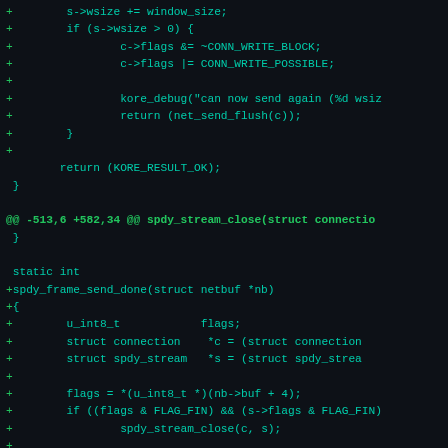[Figure (screenshot): A code diff screenshot showing C source code on a dark background. Lines prefixed with '+' are additions shown in green/cyan. The diff shows changes to spdy_stream_close and a new static function spdy_frame_send_done being added, with logic for handling connection flags, window size, and stream closure.]